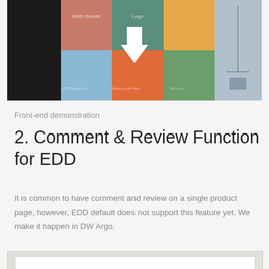[Figure (screenshot): Top portion of a blog or product page showing a grid of colorful design/book thumbnails with a white downward arrow in the center]
Front-end demonstration
2. Comment & Review Function for EDD
It is common to have comment and review on a single product page, however, EDD default does not support this feature yet. We make it happen in DW Argo.
[Figure (screenshot): Screenshot showing a product page with Description and Review tabs on left, and a comment section on the right showing '1 COMMENT' with a user comment by RICKEY BRONDER dated AUG 27, 201x, avatar, comment text beginning 'Nulla suscipit diam sed lectus a...at, bibendum iaculis nisi. Aliquam n...' and a REPLY link]